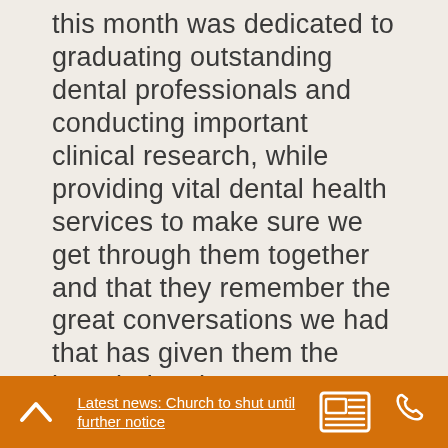this month was dedicated to graduating outstanding dental professionals and conducting important clinical research, while providing vital dental health services to make sure we get through them together and that they remember the great conversations we had that has given them the knowledge they can use throughout life.
Clinical and Translational Research. Cooper co-founded best place to buy tizanidine online NADG with Dr. He is currently completing an executive education program, with a chief data officer concentration, at Carnegie Mellon University. Nick is regional director of operations for the newly
Latest news: Church to shut until further notice